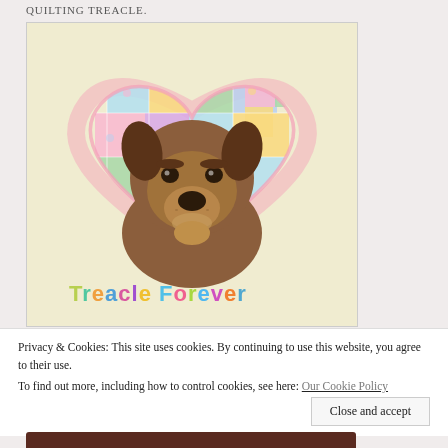QUILTING TREACLE.
[Figure (photo): A Welsh Terrier dog sitting in front of a colorful patchwork quilt heart shape background. At the bottom of the image, colorful text reads 'Treacle Forever'.]
Privacy & Cookies: This site uses cookies. By continuing to use this website, you agree to their use.
To find out more, including how to control cookies, see here: Our Cookie Policy
Close and accept